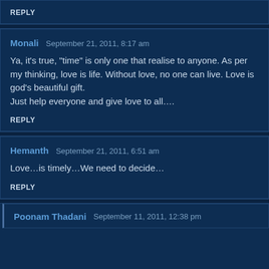REPLY
Monali   September 21, 2011, 8:17 am
Ya, it’s true, “time” is only one that realise to anyone. As per my thinking, love is life. Without love, no one can live. Love is god’s beautiful gift.
Just help everyone and give love to all….
REPLY
Hemanth   September 21, 2011, 6:51 am
Love…is timely…We need to decide…
REPLY
Poonam Thadani   September 11, 2011, 12:38 pm